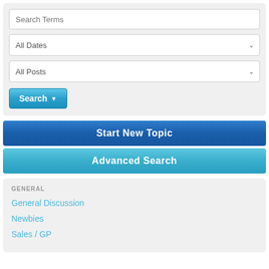[Figure (screenshot): Search form with text input 'Search Terms', two dropdowns ('All Dates', 'All Posts'), and a 'Search' button with dropdown arrow]
Start New Topic
Advanced Search
GENERAL
General Discussion
Newbies
Sales / GP